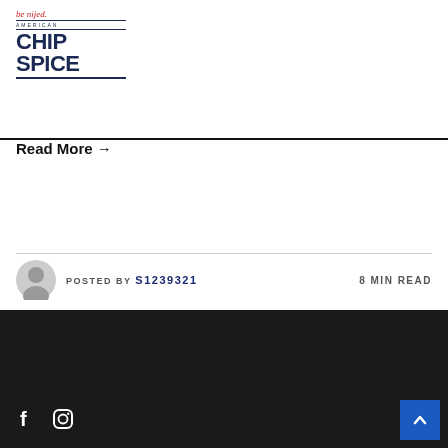[Figure (logo): Be Nijed American Chip Spice brand logo with red italic script on top, small uppercase 'AMERICAN' text, and large bold navy 'CHIP SPICE' text with underline]
Read More →
POSTED BY s1239321   8 MIN READ
Facebook and Instagram social icons, scroll-to-top button